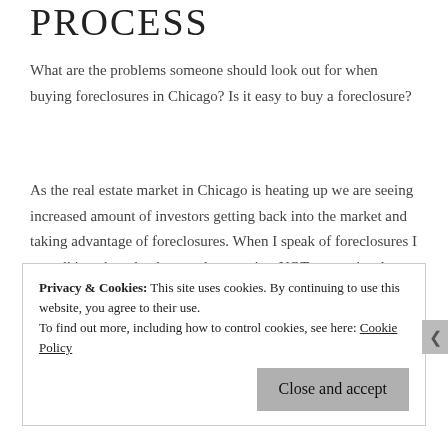PROCESS
What are the problems someone should look out for when buying foreclosures in Chicago? Is it easy to buy a foreclosure?
As the real estate market in Chicago is heating up we are seeing increased amount of investors getting back into the market and taking advantage of foreclosures. When I speak of foreclosures I am talking about bank owned properties, NOT properties that are “going
Privacy & Cookies: This site uses cookies. By continuing to use this website, you agree to their use.
To find out more, including how to control cookies, see here: Cookie Policy
Close and accept